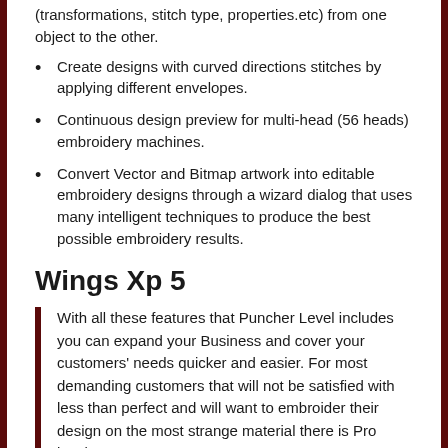(transformations, stitch type, properties.etc) from one object to the other.
Create designs with curved directions stitches by applying different envelopes.
Continuous design preview for multi-head (56 heads) embroidery machines.
Convert Vector and Bitmap artwork into editable embroidery designs through a wizard dialog that uses many intelligent techniques to produce the best possible embroidery results.
Wings Xp 5
With all these features that Puncher Level includes you can expand your Business and cover your customers' needs quicker and easier. For most demanding customers that will not be satisfied with less than perfect and will want to embroider their design on the most strange material there is Pro level.